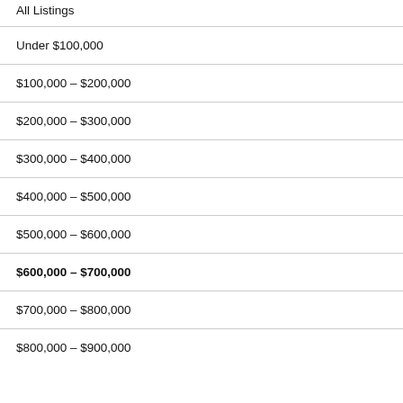All Listings
Under $100,000
$100,000 – $200,000
$200,000 – $300,000
$300,000 – $400,000
$400,000 – $500,000
$500,000 – $600,000
$600,000 – $700,000
$700,000 – $800,000
$800,000 – $900,000